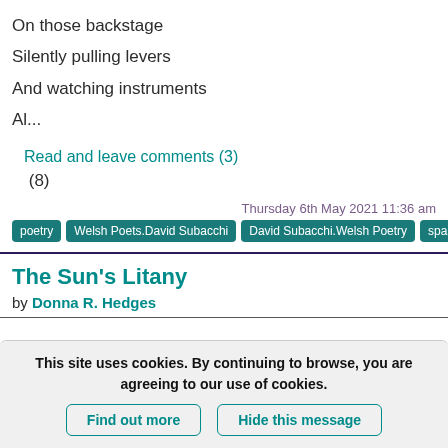On those backstage
Silently pulling levers
And watching instruments
Al...
Read and leave comments (3)
❤ (8)
Thursday 6th May 2021 11:36 am
poetry | Welsh Poets.David Subacchi | David Subacchi.Welsh Poetry | space
The Sun's Litany
by Donna R. Hedges
This site uses cookies. By continuing to browse, you are agreeing to our use of cookies.
Find out more | Hide this message